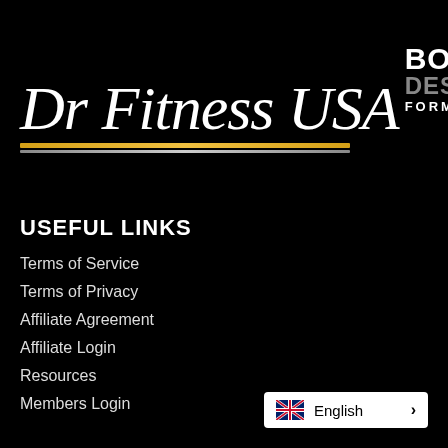[Figure (logo): Dr Fitness USA Body Design Formula logo with script text and gold/gray horizontal lines]
USEFUL LINKS
Terms of Service
Terms of Privacy
Affiliate Agreement
Affiliate Login
Resources
Members Login
[Figure (other): Language switcher showing UK flag, English text, and right arrow]